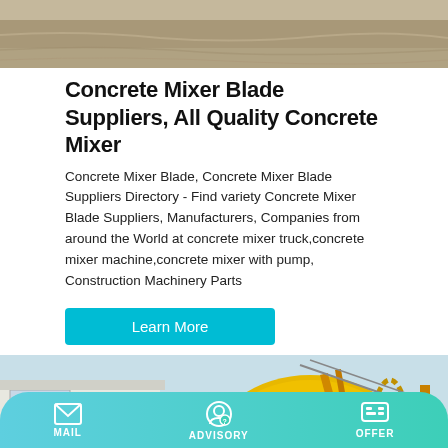[Figure (photo): Top image showing a construction/sand material scene, grayish-brown tones]
Concrete Mixer Blade Suppliers, All Quality Concrete Mixer
Concrete Mixer Blade, Concrete Mixer Blade Suppliers Directory - Find variety Concrete Mixer Blade Suppliers, Manufacturers, Companies from around the World at concrete mixer truck,concrete mixer machine,concrete mixer with pump, Construction Machinery Parts
Learn More
[Figure (photo): Yellow concrete mixer machine parked outside a factory building, with Chinese characters 出料 visible on the drum]
MAIL   ADVISORY   OFFER